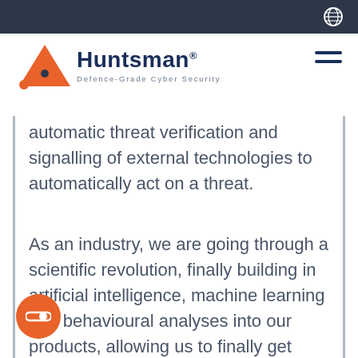Huntsman Defence-Grade Cyber Security
automatic threat verification and signalling of external technologies to automatically act on a threat.
As an industry, we are going through a scientific revolution, finally building in artificial intelligence, machine learning and behavioural analyses into our products, allowing us to finally get close to keeping up with the criminals. But collaboration is